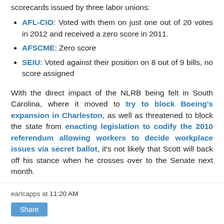While in the House, Scott received very low scores on scorecards issued by three labor unions:
AFL-CIO: Voted with them on just one out of 20 votes in 2012 and received a zero score in 2011.
AFSCME: Zero score
SEIU: Voted against their position on 8 out of 9 bills, no score assigned
With the direct impact of the NLRB being felt in South Carolina, where it moved to try to block Boeing's expansion in Charleston, as well as threatened to block the state from enacting legislation to codify the 2010 referendum allowing workers to decide workplace issues via secret ballot, it's not likely that Scott will back off his stance when he crosses over to the Senate next month.
earlcapps at 11:20 AM